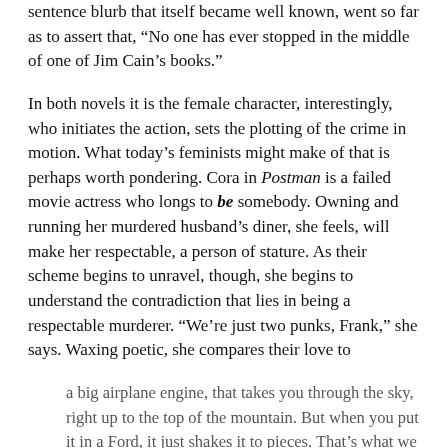sentence blurb that itself became well known, went so far as to assert that, “No one has ever stopped in the middle of one of Jim Cain’s books.”
In both novels it is the female character, interestingly, who initiates the action, sets the plotting of the crime in motion. What today’s feminists might make of that is perhaps worth pondering. Cora in Postman is a failed movie actress who longs to be somebody. Owning and running her murdered husband’s diner, she feels, will make her respectable, a person of stature. As their scheme begins to unravel, though, she begins to understand the contradiction that lies in being a respectable murderer. “We’re just two punks, Frank,” she says. Waxing poetic, she compares their love to
a big airplane engine, that takes you through the sky, right up to the top of the mountain. But when you put it in a Ford, it just shakes it to pieces. That’s what we are, Frank, a couple of Fords. God is up there laughing at us.
Fords or not, though, what follows is a scene of wild